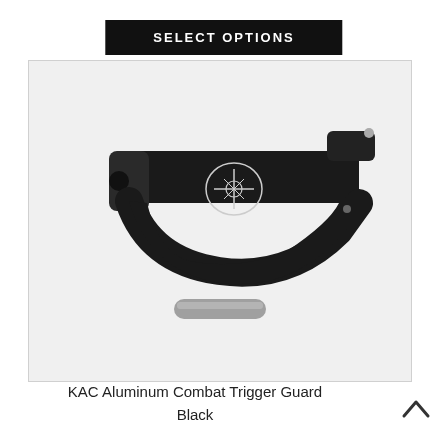SELECT OPTIONS
[Figure (photo): KAC Aluminum Combat Trigger Guard in black, shown as a standalone part with a small silver roll pin below it. The trigger guard is a curved black aluminum piece with a KAC logo engraved on it.]
KAC Aluminum Combat Trigger Guard Black